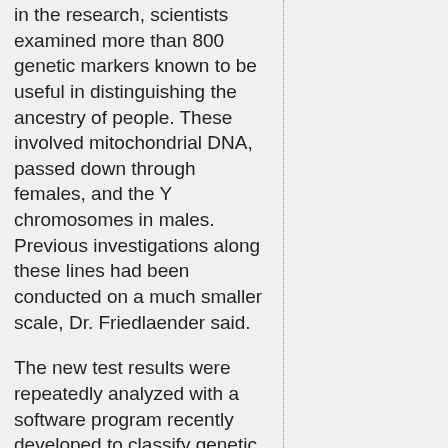in the research, scientists examined more than 800 genetic markers known to be useful in distinguishing the ancestry of people. These involved mitochondrial DNA, passed down through females, and the Y chromosomes in males. Previous investigations along these lines had been conducted on a much smaller scale, Dr. Friedlaender said.
The new test results were repeatedly analyzed with a software program recently developed to classify genetic